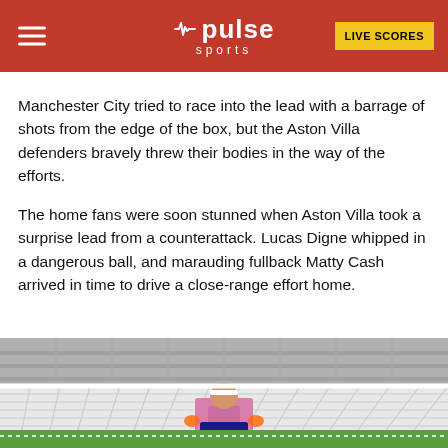Pulse Sports | LIVE SCORES
Manchester City tried to race into the lead with a barrage of shots from the edge of the box, but the Aston Villa defenders bravely threw their bodies in the way of the efforts.
The home fans were soon stunned when Aston Villa took a surprise lead from a counterattack. Lucas Digne whipped in a dangerous ball, and marauding fullback Matty Cash arrived in time to drive a close-range effort home.
[Figure (photo): A goalkeeper in a pink jersey standing in front of a goal net, viewed from behind, inside a football stadium.]